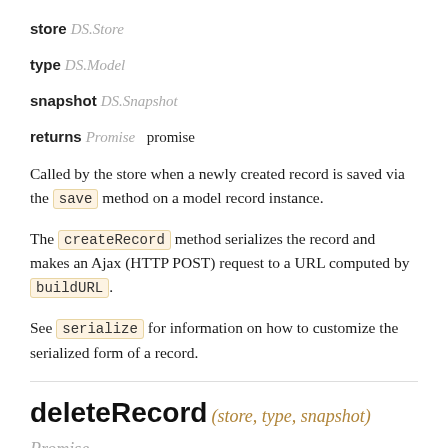store DS.Store
type DS.Model
snapshot DS.Snapshot
returns Promise  promise
Called by the store when a newly created record is saved via the save method on a model record instance.
The createRecord method serializes the record and makes an Ajax (HTTP POST) request to a URL computed by buildURL.
See serialize for information on how to customize the serialized form of a record.
deleteRecord (store, type, snapshot) Promise